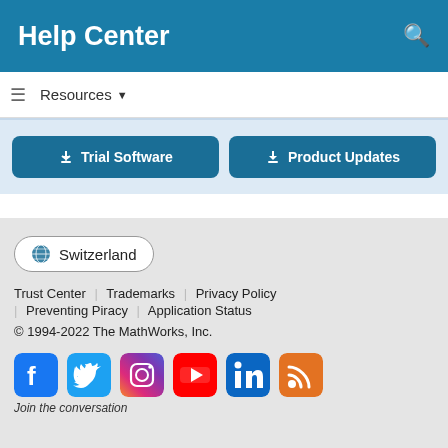Help Center
Resources ▼
Trial Software | Product Updates
Switzerland
Trust Center | Trademarks | Privacy Policy | Preventing Piracy | Application Status
© 1994-2022 The MathWorks, Inc.
[Figure (other): Social media icons: Facebook, Twitter, Instagram, YouTube, LinkedIn, RSS]
Join the conversation